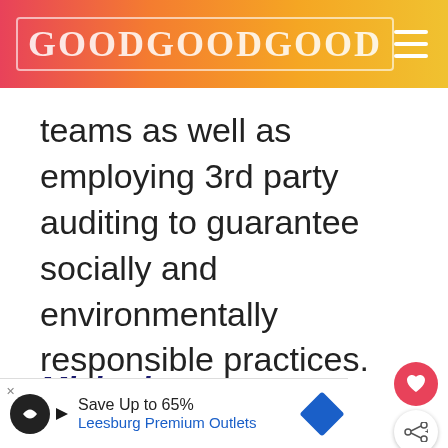GOODGOODGOOD
teams as well as employing 3rd party auditing to guarantee socially and environmentally responsible practices.
Miakoda
[Figure (photo): Photo of children/people with hair accessories, light gray background. Partially visible.]
Save Up to 65% Leesburg Premium Outlets